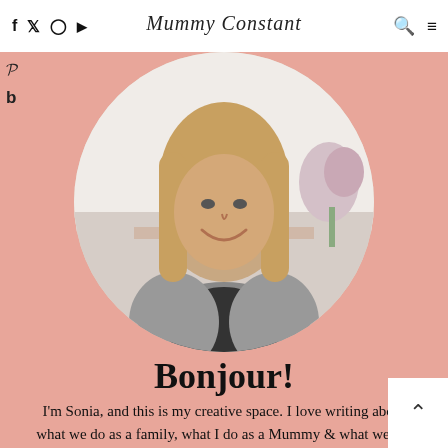f  Twitter  Instagram  YouTube  |  Mummy Constant  |  Search  Menu
[Figure (photo): Circular cropped photo of a smiling blonde woman in a grey cardigan in a bright kitchen, on a salmon pink background]
Bonjour!
I'm Sonia, and this is my creative space. I love writing about what we do as a family, what I do as a Mummy & what we are doing to our family home.